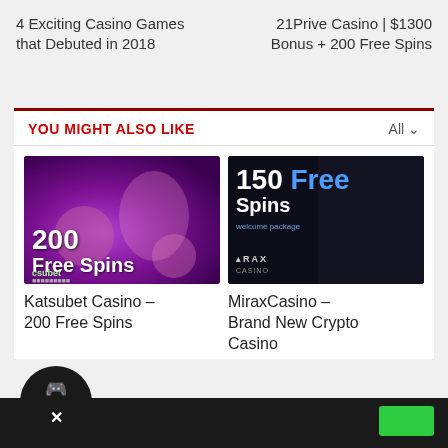4 Exciting Casino Games that Debuted in 2018
21Prive Casino | $1300 Bonus + 200 Free Spins
YOU MIGHT ALSO LIKE
[Figure (photo): Casino promotional banner showing '200 Free Spins' text with purple/pink background featuring roulette wheel and dice, with csubet branding]
[Figure (photo): Casino promotional banner showing '150 Free Spins' text with dark background featuring woman in red dress, Mirax Casino branding]
Katsubet Casino – 200 Free Spins
MiraxCasino – Brand New Crypto Casino